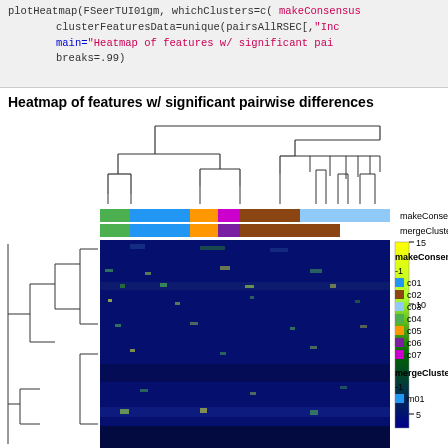plotHeatmap(FSeerTUI01gm, whichClusters=c( makeConsensus
clusterFeaturesData=unique(pairsAllRSEC[,"Ind...
Main="Heatmap of features w/ significant pai...
breaks=.99)
Heatmap of features w/ significant pairwise differences
[Figure (other): Heatmap with dendrogram showing features with significant pairwise differences. Top dendrogram clusters columns. Left dendrogram clusters rows. Color bars above heatmap show makeConsensus and mergeClusters cluster assignments. Heatmap uses yellow-green-blue color scale from 5 to 15. Legend on right shows makeConsensus labels (-1, c01-c07) and mergeClusters labels (-1, m01...).]